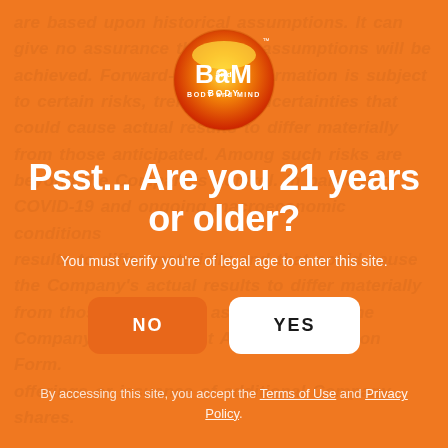[Figure (logo): BaM Body and Mind circular logo with red/orange gradient background and white text]
Psst... Are you 21 years or older?
You must verify you’re of legal age to enter this site.
NO  YES
By accessing this site, you accept the Terms of Use and Privacy Policy.